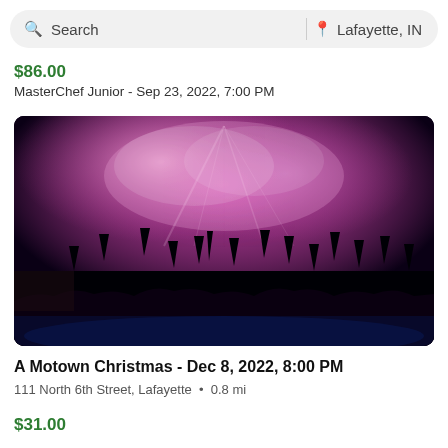Search  |  Lafayette, IN
$86.00
MasterChef Junior - Sep 23, 2022, 7:00 PM
[Figure (photo): Concert crowd silhouetted against pink and purple smoky stage lights with hands raised in the air]
A Motown Christmas - Dec 8, 2022, 8:00 PM
111 North 6th Street, Lafayette  •  0.8 mi
$31.00